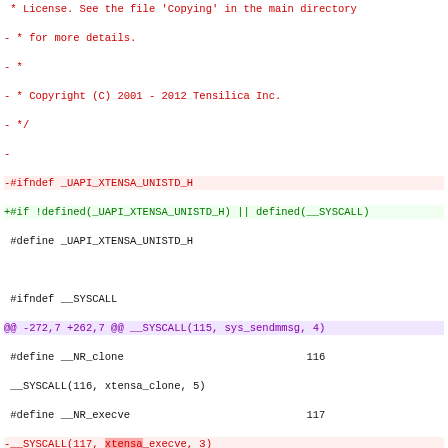License. See the file 'Copying' in the main directory
- * for more details.
- *
- * Copyright (C) 2001 - 2012 Tensilica Inc.
- */
-
-#ifndef _UAPI_XTENSA_UNISTD_H
+#if !defined(_UAPI_XTENSA_UNISTD_H) || defined(__SYSCALL)
 #define _UAPI_XTENSA_UNISTD_H

 #ifndef __SYSCALL

@@ -272,7 +262,7 @@ __SYSCALL(115, sys_sendmmsg, 4)
 #define __NR_clone                                116
 __SYSCALL(116, xtensa_clone, 5)
 #define __NR_execve                               117
-__SYSCALL(117, xtensa_execve, 3)
+__SYSCALL(117, sys_execve, 3)
 #define __NR_exit                                 118
 __SYSCALL(118, sys_exit, 1)
 #define __NR_exit_group                           119

@@ -759,4 +749,6 @@ __SYSCALL(331, sys_kcmp, 5)

 #define SYS_XTENSA_COUNT                          5      /* count */

+#undef __SYSCALL
+
 #endif /* _UAPI_XTENSA_UNISTD_H */

diff --git a/arch/xtensa/kernel/entry.S b/arch/xtensa/kernel/entry.S

index
18453067c2582034e896adee07c0d474912a98d2..90bfc1dbc13dcf4699